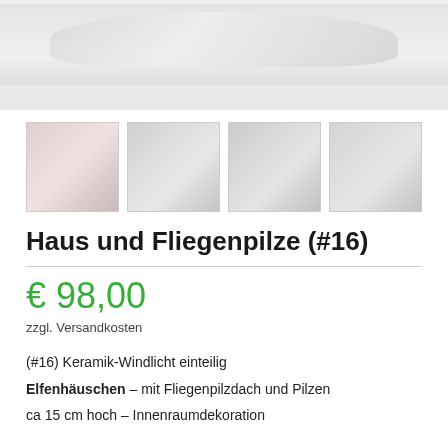[Figure (photo): Main product photo of ceramic windlight Haus und Fliegenpilze, shown from above, light-colored ceramic piece]
[Figure (photo): Four thumbnail images of the product from different angles]
Haus und Fliegenpilze (#16)
€ 98,00
zzgl. Versandkosten
(#16) Keramik-Windlicht einteilig
Elfenhäuschen – mit Fliegenpilzdach und Pilzen
ca 15 cm hoch – Innenraumdekoration